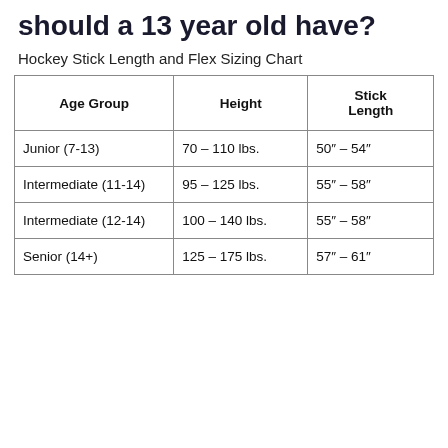should a 13 year old have?
Hockey Stick Length and Flex Sizing Chart
| Age Group | Height | Stick Length |
| --- | --- | --- |
| Junior (7-13) | 70 – 110 lbs. | 50″ – 54″ |
| Intermediate (11-14) | 95 – 125 lbs. | 55″ – 58″ |
| Intermediate (12-14) | 100 – 140 lbs. | 55″ – 58″ |
| Senior (14+) | 125 – 175 lbs. | 57″ – 61″ |